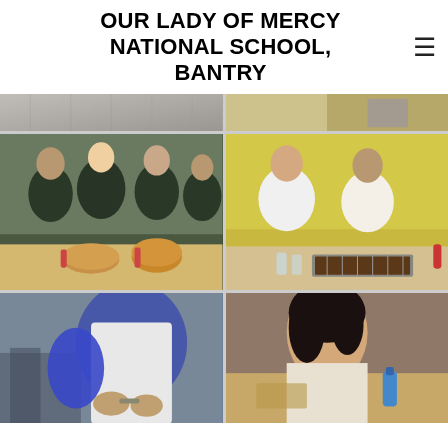OUR LADY OF MERCY NATIONAL SCHOOL, BANTRY
[Figure (photo): Top strip: two partial photos of children cooking/baking activities in a classroom setting]
[Figure (photo): Middle left: group of girls in dark green school uniforms baking, with pies and bowls on a table]
[Figure (photo): Middle right: two girls in white shirts working on a baking tray with chocolate cake on a cooling rack]
[Figure (photo): Bottom left: person in blue satin outfit holding something, classroom in background]
[Figure (photo): Bottom right: girl with dark hair leaning over a table with a small bottle]